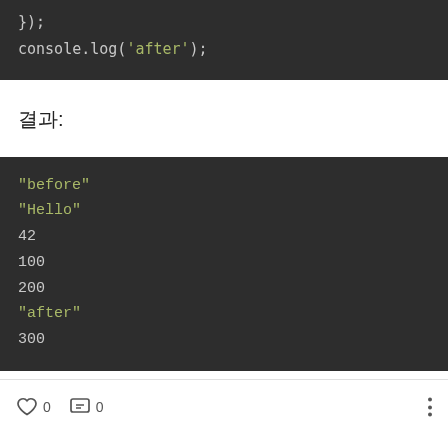[Figure (screenshot): Code snippet showing });  console.log('after'); on dark background]
결과:
[Figure (screenshot): Output block showing: "before" "Hello" 42 100 200 "after" 300]
0 likes  0 comments  more options